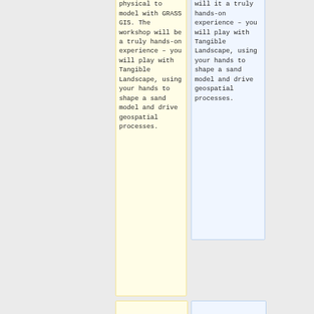physical to model with GRASS GIS. The workshop will be a truly hands-on experience – you will play with Tangible Landscape, using your hands to shape a sand model and drive geospatial processes.
will it a truly hands-on experience – you will play with Tangible Landscape, using your hands to shape a sand model and drive geospatial processes.